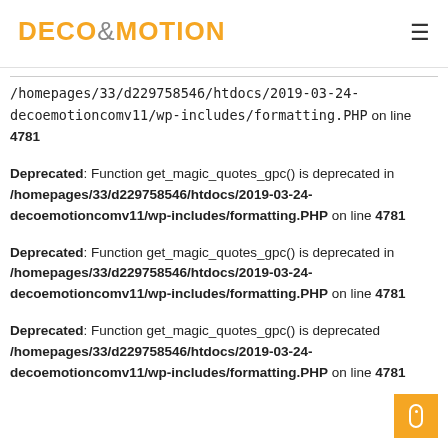DECO&MOTION
/homepages/33/d229758546/htdocs/2019-03-24-decoemotioncomv11/wp-includes/formatting.PHP on line 4781
Deprecated: Function get_magic_quotes_gpc() is deprecated in /homepages/33/d229758546/htdocs/2019-03-24-decoemotioncomv11/wp-includes/formatting.PHP on line 4781
Deprecated: Function get_magic_quotes_gpc() is deprecated in /homepages/33/d229758546/htdocs/2019-03-24-decoemotioncomv11/wp-includes/formatting.PHP on line 4781
Deprecated: Function get_magic_quotes_gpc() is deprecated in /homepages/33/d229758546/htdocs/2019-03-24-decoemotioncomv11/wp-includes/formatting.PHP on line 4781